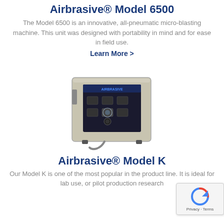Airbrasive® Model 6500
The Model 6500 is an innovative, all-pneumatic micro-blasting machine. This unit was designed with portability in mind and for ease in field use.
Learn More >
[Figure (photo): Airbrasive Model K micro-blasting machine, a compact beige and black box-shaped unit with control panel on front face and a hose attached at bottom.]
Airbrasive® Model K
Our Model K is one of the most popular in the product line. It is ideal for lab use, or pilot production research